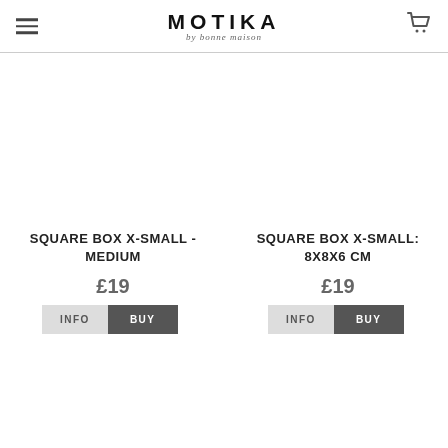MOTIKA by bonne maison
SQUARE BOX X-SMALL - MEDIUM
£19
SQUARE BOX X-SMALL: 8X8X6 CM
£19